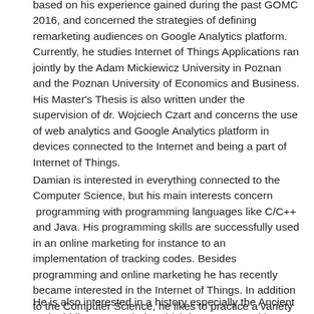based on his experience gained during the past GOMC 2016, and concerned the strategies of defining remarketing audiences on Google Analytics platform. Currently, he studies Internet of Things Applications ran jointly by the Adam Mickiewicz University in Poznan and the Poznan University of Economics and Business. His Master's Thesis is also written under the supervision of dr. Wojciech Czart and concerns the use of web analytics and Google Analytics platform in devices connected to the Internet and being a part of Internet of Things.
Damian is interested in everything connected to the Computer Science, but his main interests concern  programming with programming languages like C/C++ and Java. His programming skills are successfully used in an online marketing for instance to an implementation of tracking codes. Besides programming and online marketing he has recently became interested in the Internet of Things. In addition to the Computer Science, he likes to practice a variety of sports including martial arts, which he is a big fan of.
He is also interested in a history especially the Ancient and Middle Ages periods, which he connects with travelling to many